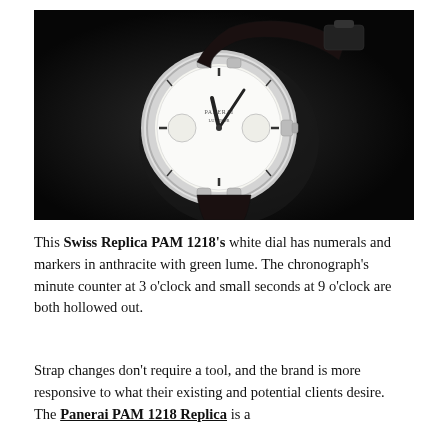[Figure (photo): Black and white photograph of a Panerai PAM 1218 luxury watch with white dial, anthracite numerals and markers, on a dark background. The watch has a large round case with a black leather strap.]
This Swiss Replica PAM 1218's white dial has numerals and markers in anthracite with green lume. The chronograph's minute counter at 3 o'clock and small seconds at 9 o'clock are both hollowed out.
Strap changes don't require a tool, and the brand is more responsive to what their existing and potential clients desire. The Panerai PAM 1218 Replica is a